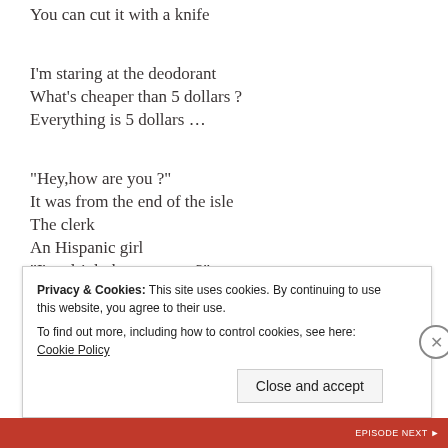You can cut it with a knife
I'm staring at the deodorant
What's cheaper than 5 dollars ?
Everything is 5 dollars …
“Hey,how are you ?”
It was from the end of the isle
The clerk
An Hispanic girl
“I’m alright,how are you?”
Privacy & Cookies: This site uses cookies. By continuing to use this website, you agree to their use. To find out more, including how to control cookies, see here: Cookie Policy
Close and accept